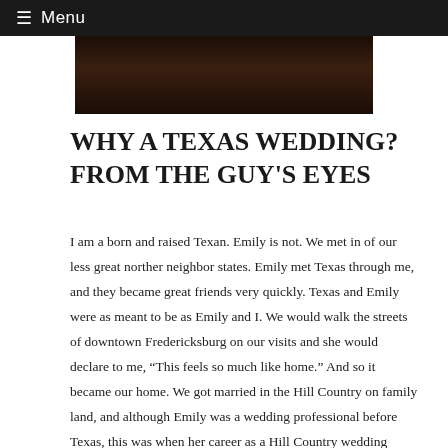≡ Menu
[Figure (photo): Dark brown wooden surface or table, partially visible at the top of the page]
WHY A TEXAS WEDDING? FROM THE GUY'S EYES
I am a born and raised Texan. Emily is not. We met in of our less great norther neighbor states. Emily met Texas through me, and they became great friends very quickly. Texas and Emily were as meant to be as Emily and I. We would walk the streets of downtown Fredericksburg on our visits and she would declare to me, “This feels so much like home.” And so it became our home. We got married in the Hill Country on family land, and although Emily was a wedding professional before Texas, this was when her career as a Hill Country wedding planner began.